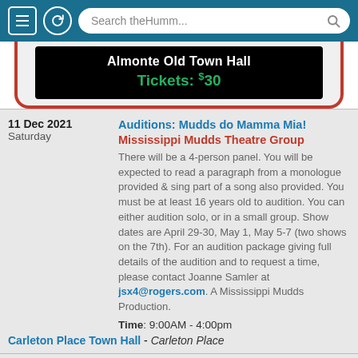Search theHumm...
[Figure (screenshot): Black banner with white text 'Almonte Old Town Hall' and green text 'Tickets: $30']
11 Dec 2021
Saturday
Auditions: Mudds do Mamma Mia!
Mississippi Mudds Theatre Group
There will be a 4-person panel. You will be expected to read a paragraph from a monologue provided & sing part of a song also provided. You must be at least 16 years old to audition. You can either audition solo, or in a small group. Show dates are April 29-30, May 1, May 5-7 (two shows on the 7th). For an audition package giving full details of the audition and to request a time, please contact Joanne Samler at jsx4@rogers.com. A Mississippi Mudds Production.
Time: 9:00AM - 4:00pm
Carleton Place Town Hall - Carleton Place
11 Dec 2021
The Barrel Boys